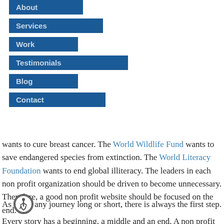About
Services
Work
Testimonials
Blog
Contact
wants to cure breast cancer. The World Wildlife Fund wants to save endangered species from extinction. The World Literacy Foundation wants to end global illiteracy. The leaders in each non profit organization should be driven to become unnecessary. Therefore, a good non profit website should be focused on the end.
As in any journey long or short, there is always the first step. Every story has a beginning, a middle and an end. A non profit